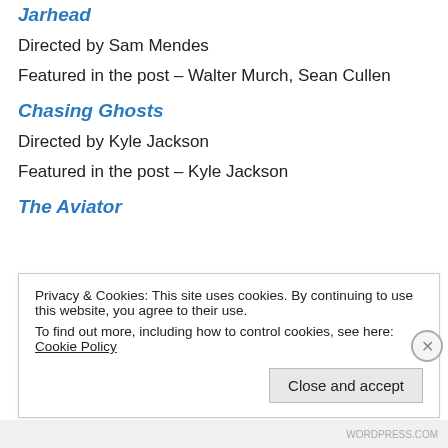Jarhead
Directed by Sam Mendes
Featured in the post – Walter Murch, Sean Cullen
Chasing Ghosts
Directed by Kyle Jackson
Featured in the post – Kyle Jackson
The Aviator
Privacy & Cookies: This site uses cookies. By continuing to use this website, you agree to their use. To find out more, including how to control cookies, see here: Cookie Policy